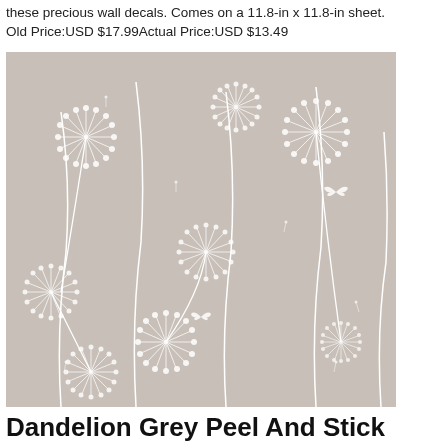these precious wall decals. Comes on a 11.8-in x 11.8-in sheet.
Old Price:USD $17.99Actual Price:USD $13.49
[Figure (illustration): Dandelion grey peel and stick wallpaper pattern — white dandelion seed heads and butterflies on a grey background.]
Dandelion Grey Peel And Stick